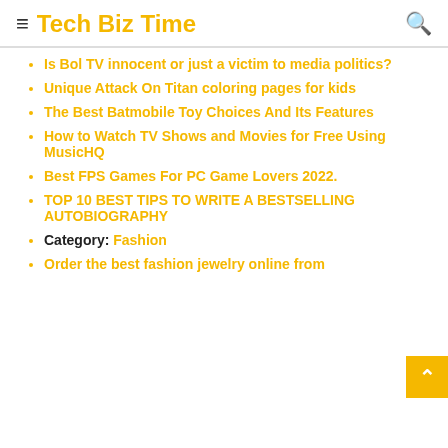Tech Biz Time
Is Bol TV innocent or just a victim to media politics?
Unique Attack On Titan coloring pages for kids
The Best Batmobile Toy Choices And Its Features
How to Watch TV Shows and Movies for Free Using MusicHQ
Best FPS Games For PC Game Lovers 2022.
TOP 10 BEST TIPS TO WRITE A BESTSELLING AUTOBIOGRAPHY
Category: Fashion
Order the best fashion jewelry online from